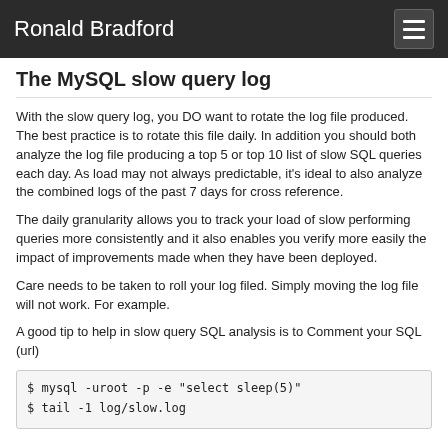Ronald Bradford
The MySQL slow query log
With the slow query log, you DO want to rotate the log file produced. The best practice is to rotate this file daily. In addition you should both analyze the log file producing a top 5 or top 10 list of slow SQL queries each day. As load may not always predictable, it's ideal to also analyze the combined logs of the past 7 days for cross reference.
The daily granularity allows you to track your load of slow performing queries more consistently and it also enables you verify more easily the impact of improvements made when they have been deployed.
Care needs to be taken to roll your log filed. Simply moving the log file will not work. For example.
A good tip to help in slow query SQL analysis is to Comment your SQL (url)
$ mysql -uroot -p -e "select sleep(5)"
$ tail -1 log/slow.log